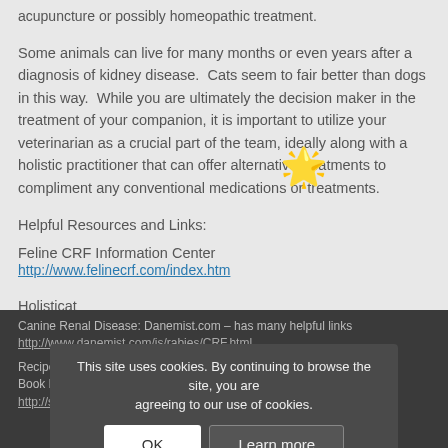acupuncture or possibly homeopathic treatment.
Some animals can live for many months or even years after a diagnosis of kidney disease. Cats seem to fair better than dogs in this way. While you are ultimately the decision maker in the treatment of your companion, it is important to utilize your veterinarian as a crucial part of the team, ideally along with a holistic practitioner that can offer alternative treatments to compliment any conventional medications or treatments.
Helpful Resources and Links:
Feline CRF Information Center
http://www.felinecrf.com/index.htm
Holisticat
http://www.holisticat.com/crf.html
Canine Renal Disease: Danemist.com – has many helpful links
http://www.danemist.com/is/rabies/CRF.html
Recipes for home cooked kidney diets.
Book by Dr. Donald Strombeck
http://store.blackwell-professional.com/0813821495.html
This site uses cookies. By continuing to browse the site, you are agreeing to our use of cookies.